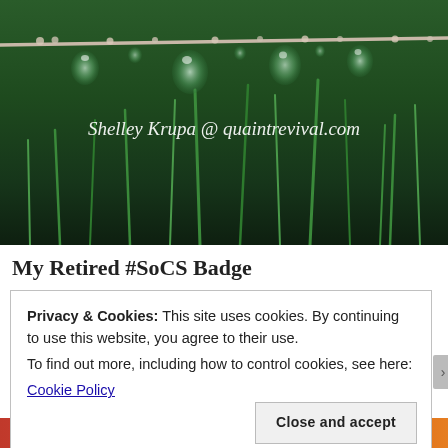[Figure (photo): Close-up photograph of water droplets hanging from a thin branch or wire, with green grass blades in the background. White italic text watermark reads 'Shelley Krupa @ quaintrevival.com'.]
My Retired #SoCS Badge
Privacy & Cookies: This site uses cookies. By continuing to use this website, you agree to their use.
To find out more, including how to control cookies, see here:
Cookie Policy
Close and accept
with more privacy.